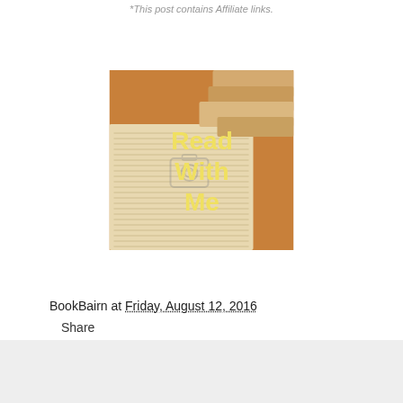*This post contains Affiliate links.
[Figure (photo): Photo of stacked open books on a warm carpeted surface with text overlaid reading 'Read With Me' in yellow font, with a small camera watermark icon in the center.]
BookBairn at Friday, August 12, 2016
Share